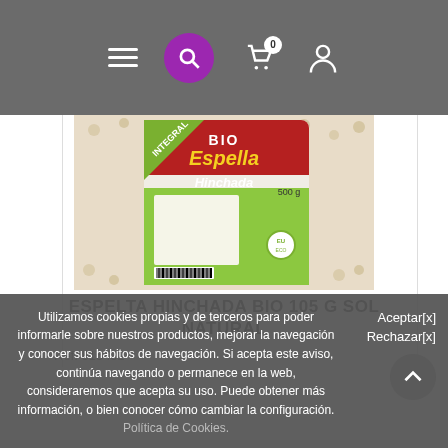Navigation header with menu, search, cart (0 items), and user icons
[Figure (photo): Product image of Bio Espelta Hinchada Integral package by Sol Natural, 500g, showing puffed spelt grains]
ESPELTA HINCHADA BIO 105 G SOL NATURAL
Ref: 815402
Utilizamos cookies propias y de terceros para poder informarle sobre nuestros productos, mejorar la navegación y conocer sus hábitos de navegación. Si acepta este aviso, continúa navegando o permanece en la web, consideraremos que acepta su uso. Puede obtener más información, o bien conocer cómo cambiar la configuración. Política de Cookies.
Aceptar[x] Rechazar[x]